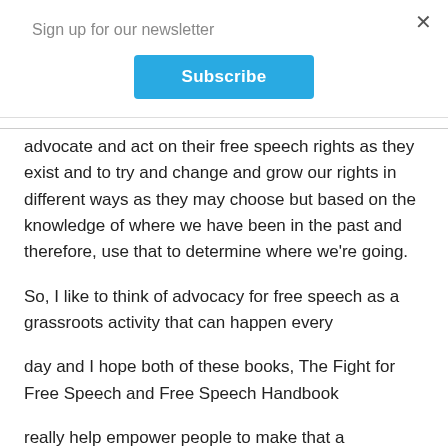Sign up for our newsletter
Subscribe
advocate and act on their free speech rights as they exist and to try and change and grow our rights in different ways as they may choose but based on the knowledge of where we have been in the past and therefore, use that to determine where we're going.
So, I like to think of advocacy for free speech as a grassroots activity that can happen every
day and I hope both of these books, The Fight for Free Speech and Free Speech Handbook
really help empower people to make that a grassroots practice.